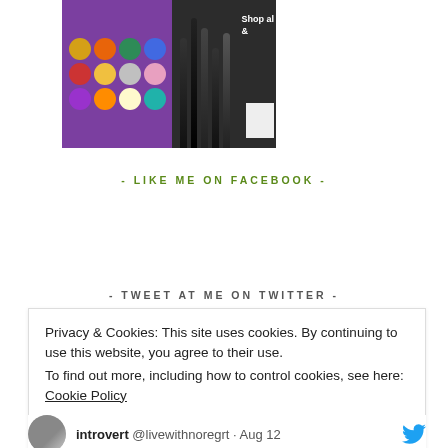[Figure (photo): Makeup palette with colorful eyeshadows and brushes displayed against a dark background with partial text overlay reading 'Shop al' and a crescent moon logo with letter B]
- LIKE ME ON FACEBOOK -
- TWEET AT ME ON TWITTER -
Privacy & Cookies: This site uses cookies. By continuing to use this website, you agree to their use.
To find out more, including how to control cookies, see here: Cookie Policy
Close and accept
introvert @livewithnoregrt · Aug 12